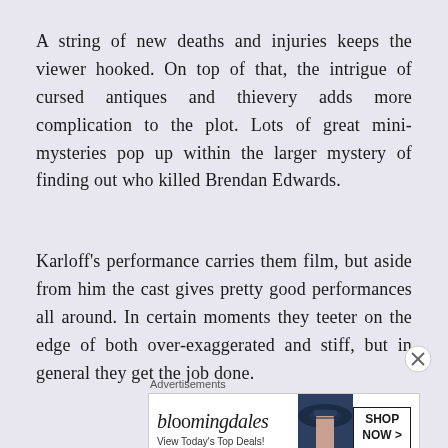A string of new deaths and injuries keeps the viewer hooked. On top of that, the intrigue of cursed antiques and thievery adds more complication to the plot. Lots of great mini-mysteries pop up within the larger mystery of finding out who killed Brendan Edwards.
Karloff's performance carries them film, but aside from him the cast gives pretty good performances all around. In certain moments they teeter on the edge of both over-exaggerated and stiff, but in general they get the job done.
Advertisements
[Figure (other): Bloomingdale's advertisement banner showing logo, 'View Today's Top Deals!' tagline, a woman in a wide-brim hat, and a 'SHOP NOW >' button]